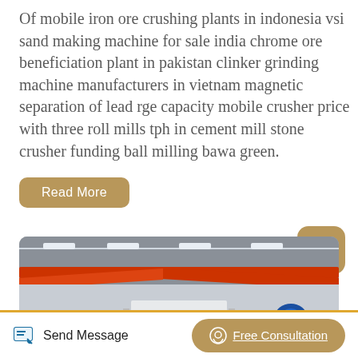Of mobile iron ore crushing plants in indonesia vsi sand making machine for sale india chrome ore beneficiation plant in pakistan clinker grinding machine manufacturers in vietnam magnetic separation of lead rge capacity mobile crusher price with three roll mills tph in cement mill stone crusher funding ball milling bawa green.
Read More
[Figure (photo): Interior of an industrial factory showing overhead red crane beams, conveyor belt machinery with blue motors/drives, and white structural equipment on a factory floor.]
Send Message
Free Consultation